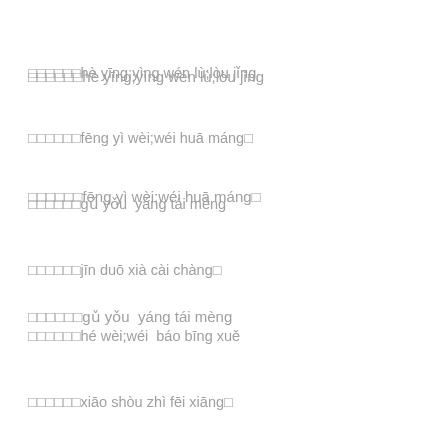□□□□□□hè yīng;yìng wén lù;lòu jǐng
□□□□□□fēng yì wèi;wéi huā máng□
□□□□□□gǔ yǒu  yáng tái mèng
□□□□□□jīn duō xià cài chàng□
□□□□□□hé wèi;wéi  báo bīng xuě
□□□□□□xiāo shòu zhì fēi xiāng□
The water clock's silver arrow points true and cold
Evening light congeals in the oil lamp,